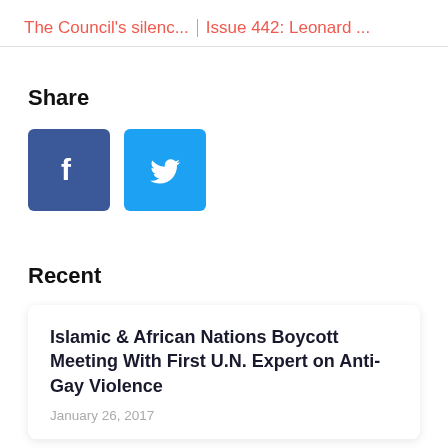The Council's silenc... | Issue 442: Leonard ...
Share
[Figure (illustration): Facebook share button (dark blue square with white Facebook 'f' icon) and Twitter share button (light blue square with white Twitter bird icon)]
Recent
Islamic & African Nations Boycott Meeting With First U.N. Expert on Anti-Gay Violence
January 26, 2017
Islamic States Block 88 Gay Rights ...